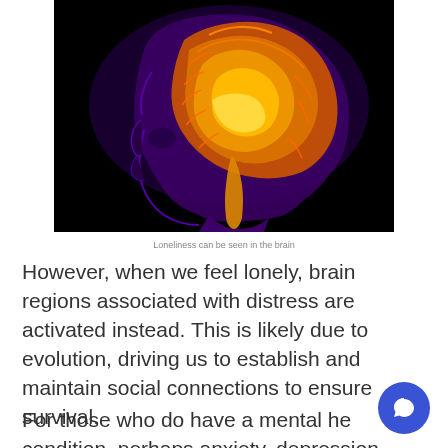[Figure (photo): False-color MRI scan of a human head in profile showing the brain with vivid orange, red, yellow brain structures against a purple head outline and black background. The brain's folds and internal structures are clearly visible.]
Loneliness can be seen in the brain
However, when we feel lonely, brain regions associated with distress are activated instead. This is likely due to evolution, driving us to establish and maintain social connections to ensure survival.
For those who do have a mental health condition, perhaps anxiety, depression